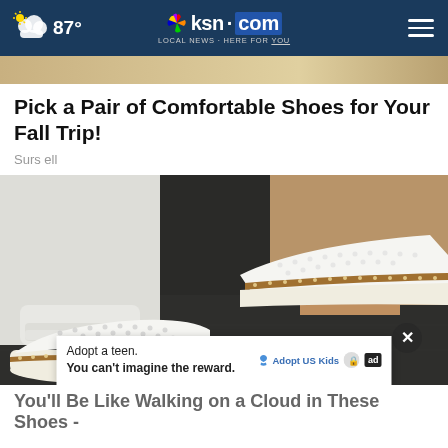87° | ksn.com LOCAL NEWS · HERE FOR YOU
[Figure (photo): Partial top image strip showing shoes]
Pick a Pair of Comfortable Shoes for Your Fall Trip!
Sursell
[Figure (photo): Close-up photo of a person wearing white perforated slip-on shoes with brown/tan trim and white rubber soles, standing on a dark surface, wearing white jeans rolled at the ankle]
Adopt a teen. You can't imagine the reward. Adopt US Kids [ad]
You'll Be Like Walking on a Cloud in These Shoes -